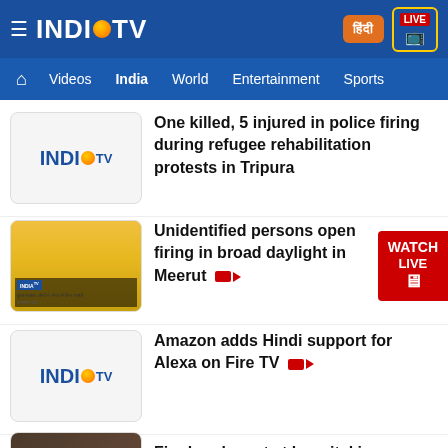[Figure (screenshot): India TV news app screenshot showing header with logo, navigation bar, and news article list]
One killed, 5 injured in police firing during refugee rehabilitation protests in Tripura
Unidentified persons open firing in broad daylight in Meerut [video icon]
Amazon adds Hindi support for Alexa on Fire TV [video icon]
Fire breaks out at hospital in Surat [video icon]